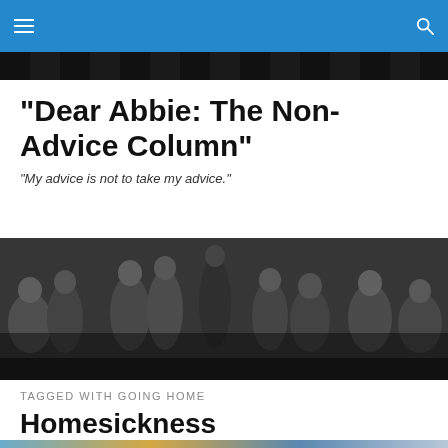"Dear Abbie: The Non-Advice Column"
"My advice is not to take my advice."
[Figure (photo): Black and white scene with multiple people on a city street, mid-20th century style.]
TAGGED WITH GOING HOME
Homesickness
[Figure (photo): Colorful landscape with sky and clouds, partially visible at bottom of page.]